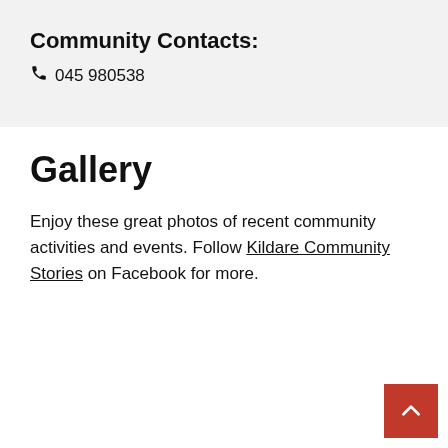Community Contacts:
☎ 045 980538
Gallery
Enjoy these great photos of recent community activities and events. Follow Kildare Community Stories on Facebook for more.